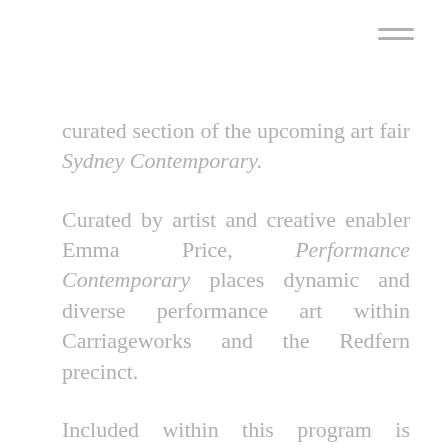[Figure (other): Hamburger menu icon (three horizontal lines) in grey, positioned top right]
curated section of the upcoming art fair Sydney Contemporary.
Curated by artist and creative enabler Emma Price, Performance Contemporary places dynamic and diverse performance art within Carriageworks and the Redfern precinct.
Included within this program is Hayden Fowler's installation /